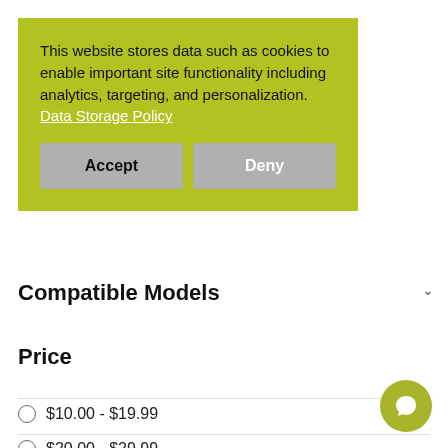This website stores data such as cookies to enable important site functionality including analytics, targeting, and personalization. Data Storage Policy
Accept
Deny
Compatible Models
Price
$10.00 - $19.99
$20.00 - $29.99